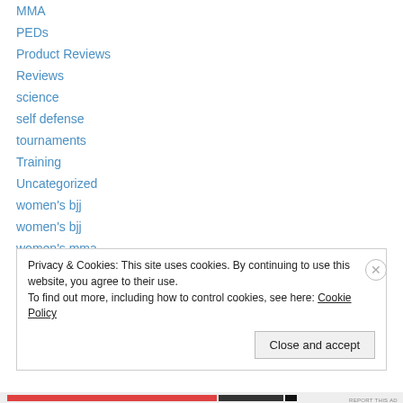MMA
PEDs
Product Reviews
Reviews
science
self defense
tournaments
Training
Uncategorized
women's bjj
women's bjj
women's mma
Privacy & Cookies: This site uses cookies. By continuing to use this website, you agree to their use.
To find out more, including how to control cookies, see here: Cookie Policy
Close and accept